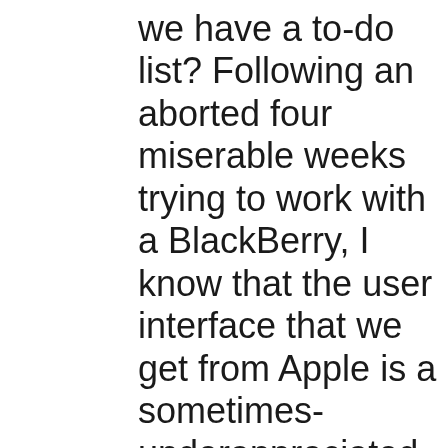we have a to-do list? Following an aborted four miserable weeks trying to work with a BlackBerry, I know that the user interface that we get from Apple is a sometimes-underappreciated blessing, but it's not the only thing that we need. Isn't